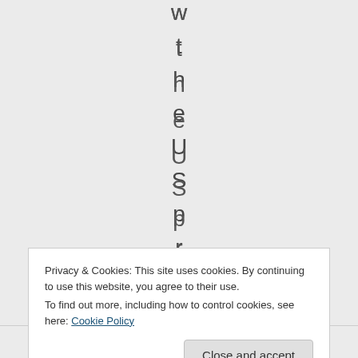[Figure (other): Vertical text spelling out letters 'w t h e U S p r o b l' each on a separate line, displayed character by character vertically on a grey background]
Privacy & Cookies: This site uses cookies. By continuing to use this website, you agree to their use.
To find out more, including how to control cookies, see here: Cookie Policy
Close and accept